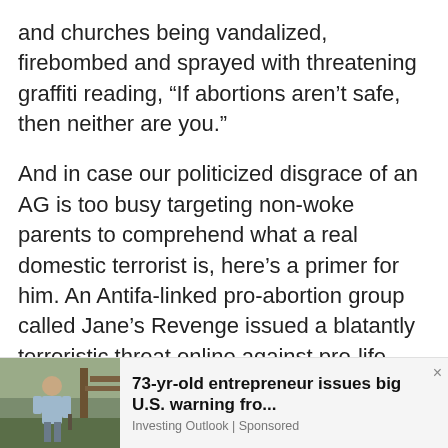and churches being vandalized, firebombed and sprayed with threatening graffiti reading, “If abortions aren’t safe, then neither are you.”
And in case our politicized disgrace of an AG is too busy targeting non-woke parents to comprehend what a real domestic terrorist is, here’s a primer for him. An Antifa-linked pro-abortion group called Jane’s Revenge issued a blatantly terroristic threat online against pro-life organizations, reading in part:
[Figure (photo): Thumbnail photo of an older man in a light blue shirt standing outdoors near a wooden structure, used as an advertisement image.]
73-yr-old entrepreneur issues big U.S. warning fro... Investing Outlook | Sponsored